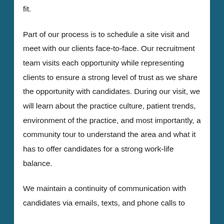fit.
Part of our process is to schedule a site visit and meet with our clients face-to-face. Our recruitment team visits each opportunity while representing clients to ensure a strong level of trust as we share the opportunity with candidates. During our visit, we will learn about the practice culture, patient trends, environment of the practice, and most importantly, a community tour to understand the area and what it has to offer candidates for a strong work-life balance.
We maintain a continuity of communication with candidates via emails, texts, and phone calls to